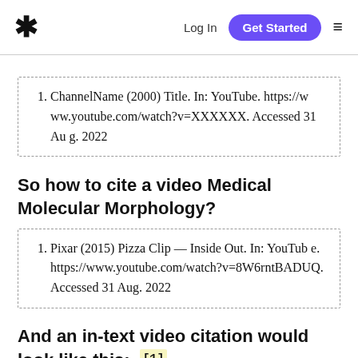* Log In Get Started ≡
1. ChannelName (2000) Title. In: YouTube. https://www.youtube.com/watch?v=XXXXXX. Accessed 31 Aug. 2022
So how to cite a video Medical Molecular Morphology?
1. Pixar (2015) Pizza Clip — Inside Out. In: YouTube. https://www.youtube.com/watch?v=8W6rntBADUQ. Accessed 31 Aug. 2022
And an in-text video citation would look like this: [1]